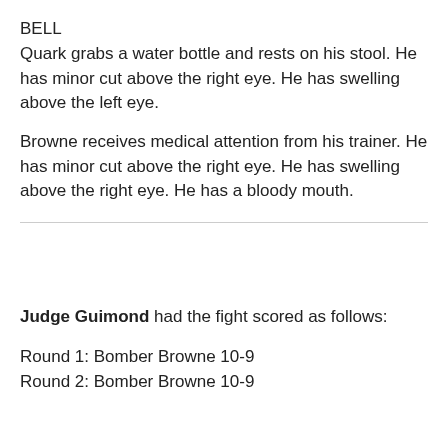BELL
Quark grabs a water bottle and rests on his stool. He has minor cut above the right eye. He has swelling above the left eye.
Browne receives medical attention from his trainer. He has minor cut above the right eye. He has swelling above the right eye. He has a bloody mouth.
Judge Guimond had the fight scored as follows:
Round 1: Bomber Browne 10-9
Round 2: Bomber Browne 10-9